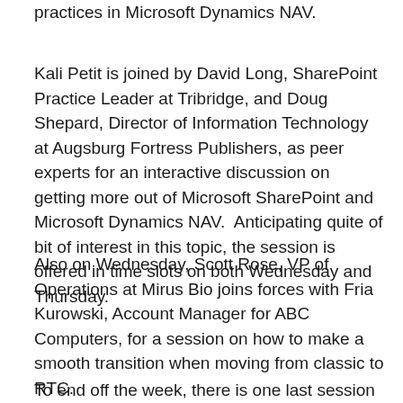practices in Microsoft Dynamics NAV.
Kali Petit is joined by David Long, SharePoint Practice Leader at Tribridge, and Doug Shepard, Director of Information Technology at Augsburg Fortress Publishers, as peer experts for an interactive discussion on getting more out of Microsoft SharePoint and Microsoft Dynamics NAV.  Anticipating quite of bit of interest in this topic, the session is offered in time slots on both Wednesday and Thursday.
Also on Wednesday, Scott Rose, VP of Operations at Mirus Bio joins forces with Fria Kurowski, Account Manager for ABC Computers, for a session on how to make a smooth transition when moving from classic to RTC.
To end off the week, there is one last session offered on